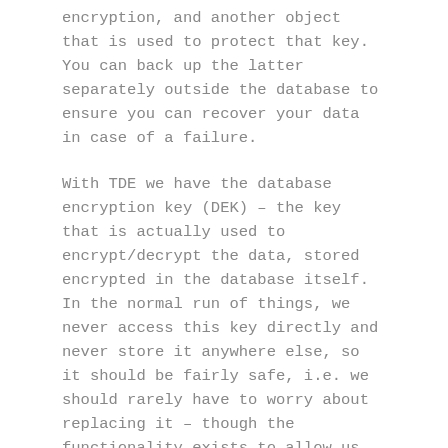encryption, and another object that is used to protect that key. You can back up the latter separately outside the database to ensure you can recover your data in case of a failure.
With TDE we have the database encryption key (DEK) – the key that is actually used to encrypt/decrypt the data, stored encrypted in the database itself. In the normal run of things, we never access this key directly and never store it anywhere else, so it should be fairly safe, i.e. we should rarely have to worry about replacing it – though the functionality exists to allow us to do so if we require.
Then we have the certificate which is used to encrypt that key – without the certificate the key is